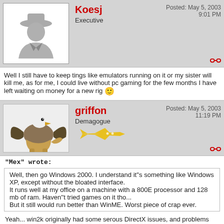[Figure (illustration): Forum post header for user Koesj showing a gray silhouette avatar, username in red bold, rank Executive, posted date May 5 2003 9:01 PM, and a chain link icon]
Well I still have to keep tings like emulators running on it or my sister will kill me, as for me, I could live without pc gaming for the few months I have left waiting on money for a new rig 😀
[Figure (illustration): Forum post header for user griffon showing an eagle/griffin avatar image, username in red bold, rank Demagogue, a yellow airplane icon, posted date May 5 2003 11:19 PM, and a chain link icon]
"Mex" wrote:
Well, then go Windows 2000. I understand it''s something like Windows XP, except without the bloated interface.
It runs well at my office on a machine with a 800E processor and 128 mb of ram. Haven''t tried games on it tho...
But it still would run better than WinME. Worst piece of crap ever.
Yeah... win2k originally had some serous DirectX issues, and problems with games in general, that MS addressed by repeatedly screaming that it is not a gamers OS. Eventually that stoped...both the problems and the screaming. It''s a fine OS and in some-ways is better then XP but XP does offer better